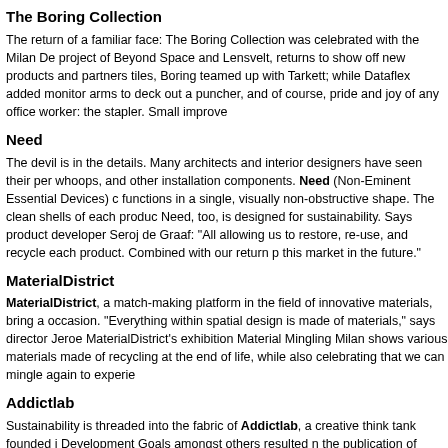The Boring Collection
The return of a familiar face: The Boring Collection was celebrated with the Milan De project of Beyond Space and Lensvelt, returns to show off new products and partners tiles, Boring teamed up with Tarkett; while Dataflex added monitor arms to deck out a puncher, and of course, pride and joy of any office worker: the stapler. Small improve
Need
The devil is in the details. Many architects and interior designers have seen their per whoops, and other installation components. Need (Non-Eminent Essential Devices) c functions in a single, visually non-obstructive shape. The clean shells of each produc Need, too, is designed for sustainability. Says product developer Seroj de Graaf: "All allowing us to restore, re-use, and recycle each product. Combined with our return p this market in the future."
MaterialDistrict
MaterialDistrict, a match-making platform in the field of innovative materials, bring a occasion. "Everything within spatial design is made of materials," says director Jeroe MaterialDistrict's exhibition Material Mingling Milan shows various materials made of recycling at the end of life, while also celebrating that we can mingle again to experie
Addictlab
Sustainability is threaded into the fabric of Addictlab, a creative think tank founded i Development Goals amongst others resulted n the publication of SDGzine. Both in ha initiatives, New Materials and his/Eco Shuttle, have been the lifesaving vessels that